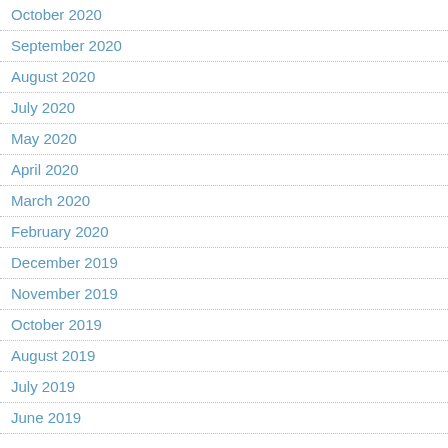October 2020
September 2020
August 2020
July 2020
May 2020
April 2020
March 2020
February 2020
December 2019
November 2019
October 2019
August 2019
July 2019
June 2019